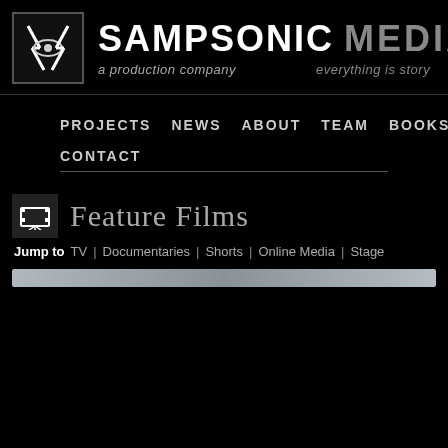SAMPSONIC MEDIA – a production company – everything is story
PROJECTS  NEWS  ABOUT  TEAM  BOOKS
CONTACT
Feature Films
Jump to   TV | Documentaries | Shorts | Online Media | Stage